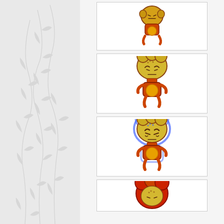[Figure (illustration): Left panel with light gray leaf/branch decorative pattern on white/light gray background]
[Figure (illustration): Cartoon bread-shaped character with orange/red body and round belly, viewed from front, small figure at top]
[Figure (illustration): Cartoon bread/toast-shaped character with golden-yellow face showing frowning expression, orange body with round belly, full body view]
[Figure (illustration): Cartoon bread/toast-shaped character with blue glow outline, golden-yellow face with frowning expression, orange body with round belly, full body view]
[Figure (illustration): Partial view of cartoon bread-shaped character head with red/orange coloring, cropped at bottom of page]